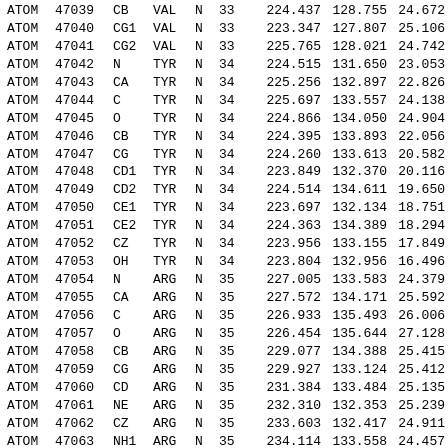| type | serial | name | res | chain | resseq | x | y | z |
| --- | --- | --- | --- | --- | --- | --- | --- | --- |
| ATOM | 47039 | CB | VAL | N | 33 | 224.437 | 128.755 | 24.672 |
| ATOM | 47040 | CG1 | VAL | N | 33 | 223.347 | 127.807 | 25.106 |
| ATOM | 47041 | CG2 | VAL | N | 33 | 225.765 | 128.021 | 24.742 |
| ATOM | 47042 | N | TYR | N | 34 | 224.515 | 131.650 | 23.053 |
| ATOM | 47043 | CA | TYR | N | 34 | 225.256 | 132.897 | 22.826 |
| ATOM | 47044 | C | TYR | N | 34 | 225.697 | 133.557 | 24.138 |
| ATOM | 47045 | O | TYR | N | 34 | 224.866 | 134.050 | 24.904 |
| ATOM | 47046 | CB | TYR | N | 34 | 224.395 | 133.893 | 22.056 |
| ATOM | 47047 | CG | TYR | N | 34 | 224.260 | 133.613 | 20.582 |
| ATOM | 47048 | CD1 | TYR | N | 34 | 223.849 | 132.370 | 20.116 |
| ATOM | 47049 | CD2 | TYR | N | 34 | 224.514 | 134.611 | 19.650 |
| ATOM | 47050 | CE1 | TYR | N | 34 | 223.697 | 132.134 | 18.751 |
| ATOM | 47051 | CE2 | TYR | N | 34 | 224.363 | 134.389 | 18.294 |
| ATOM | 47052 | CZ | TYR | N | 34 | 223.956 | 133.155 | 17.849 |
| ATOM | 47053 | OH | TYR | N | 34 | 223.804 | 132.956 | 16.496 |
| ATOM | 47054 | N | ARG | N | 35 | 227.005 | 133.583 | 24.379 |
| ATOM | 47055 | CA | ARG | N | 35 | 227.572 | 134.171 | 25.592 |
| ATOM | 47056 | C | ARG | N | 35 | 226.933 | 135.493 | 26.006 |
| ATOM | 47057 | O | ARG | N | 35 | 226.454 | 135.644 | 27.128 |
| ATOM | 47058 | CB | ARG | N | 35 | 229.077 | 134.388 | 25.415 |
| ATOM | 47059 | CG | ARG | N | 35 | 229.927 | 133.124 | 25.412 |
| ATOM | 47060 | CD | ARG | N | 35 | 231.384 | 133.484 | 25.135 |
| ATOM | 47061 | NE | ARG | N | 35 | 232.310 | 132.353 | 25.239 |
| ATOM | 47062 | CZ | ARG | N | 35 | 233.603 | 132.417 | 24.911 |
| ATOM | 47063 | NH1 | ARG | N | 35 | 234.114 | 133.558 | 24.457 |
| ATOM | 47064 | NH2 | ARG | N | 35 | 234.389 | 131.348 | 25.037 |
| ATOM | 47065 | N | PHE | N | 36 | 226.929 | 136.454 | 25.096 |
| ATOM | 47066 | CA | PHE | N | 36 | 226.372 | 137.766 | 25.388 |
| ATOM | 47067 | C | PHE | N | 36 | 224.967 | 137.734 | 25.949 |
| ATOM | 47068 | O | PHE | N | 36 | 224.553 | 138.682 | 26.605 |